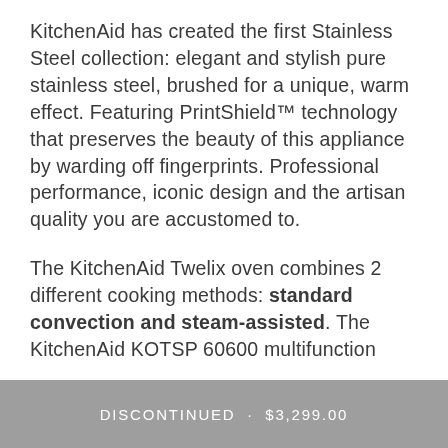KitchenAid has created the first Stainless Steel collection: elegant and stylish pure stainless steel, brushed for a unique, warm effect. Featuring PrintShield™ technology that preserves the beauty of this appliance by warding off fingerprints. Professional performance, iconic design and the artisan quality you are accustomed to.
The KitchenAid Twelix oven combines 2 different cooking methods: standard convection and steam-assisted. The KitchenAid KOTSP 60600 multifunction
DISCONTINUED · $3,299.00